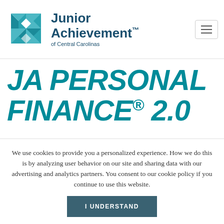[Figure (logo): Junior Achievement of Central Carolinas logo with teal geometric pinwheel/star shape and organization name text]
JA PERSONAL FINANCE® 2.0
We use cookies to provide you a personalized experience. How we do this is by analyzing user behavior on our site and sharing data with our advertising and analytics partners. You consent to our cookie policy if you continue to use this website.
I UNDERSTAND